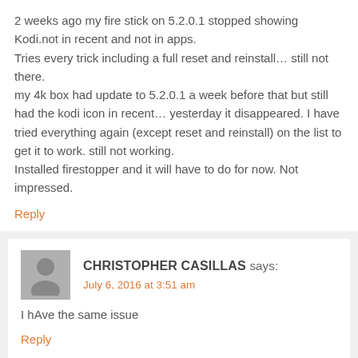2 weeks ago my fire stick on 5.2.0.1 stopped showing Kodi.not in recent and not in apps.
Tries every trick including a full reset and reinstall… still not there.
my 4k box had update to 5.2.0.1 a week before that but still had the kodi icon in recent… yesterday it disappeared. I have tried everything again (except reset and reinstall) on the list to get it to work. still not working.
Installed firestopper and it will have to do for now. Not impressed.
Reply
CHRISTOPHER CASILLAS says:
July 6, 2016 at 3:51 am
I hAve the same issue
Reply